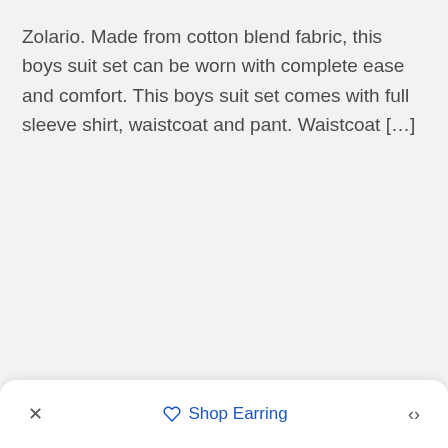Zolario. Made from cotton blend fabric, this boys suit set can be worn with complete ease and comfort. This boys suit set comes with full sleeve shirt, waistcoat and pant. Waistcoat […]
× Shop Earring ^